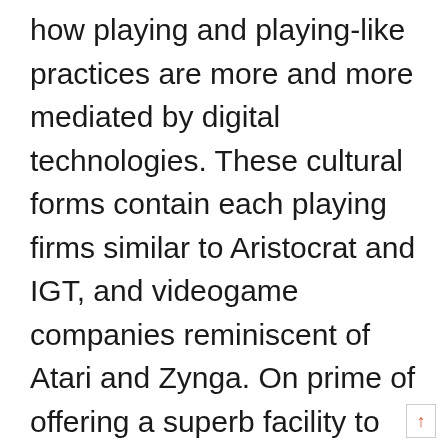how playing and playing-like practices are more and more mediated by digital technologies. These cultural forms contain each playing firms similar to Aristocrat and IGT, and videogame companies reminiscent of Atari and Zynga. On prime of offering a superb facility to enjoy the professional sport from everywhere in the world, Crown Sports Bar affords wonderful odds throughout a large range of betting markets. The resort will likely be operating at near normality but will likely be providing a few additional domestic companies to